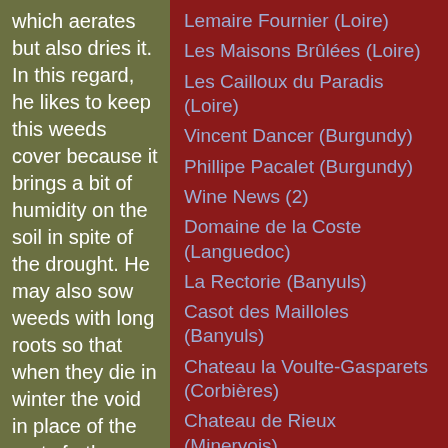which aerates but also dries it. In this regard, he likes to keep this weeds cover because it brings a bit of humidity on the soil in spite of the drought. He may also sow weeds with long roots so that when they die in winter the void in place of the roots further aerates the soil. Here the yields
Lemaire Fournier (Loire)
Les Maisons Brûlées (Loire)
Les Cailloux du Paradis (Loire)
Vincent Dancer (Burgundy)
Phillipe Pacalet (Burgundy)
Wine News (2)
Domaine de la Coste (Languedoc)
La Rectorie (Banyuls)
Casot des Mailloles (Banyuls)
Chateau la Voulte-Gasparets (Corbières)
Chateau de Rieux (Minervois)
Domaine Les Eminades (Saint Chinian)